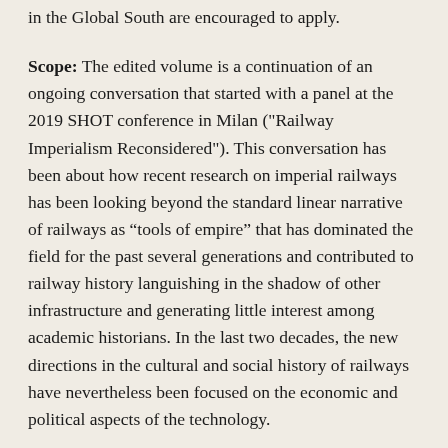in the Global South are encouraged to apply.
Scope: The edited volume is a continuation of an ongoing conversation that started with a panel at the 2019 SHOT conference in Milan ("Railway Imperialism Reconsidered"). This conversation has been about how recent research on imperial railways has been looking beyond the standard linear narrative of railways as “tools of empire” that has dominated the field for the past several generations and contributed to railway history languishing in the shadow of other infrastructure and generating little interest among academic historians. In the last two decades, the new directions in the cultural and social history of railways have nevertheless been focused on the economic and political aspects of the technology.
For this volume, we seek contributions that engage with broader social, economic, or cultural questions and reconsider the history of imperial railways through the lens of labour history, environmental or urban studies, migration and mobility cultures, and others. New approaches in the fields of cultural, imperial, and global history as well as the history of technology